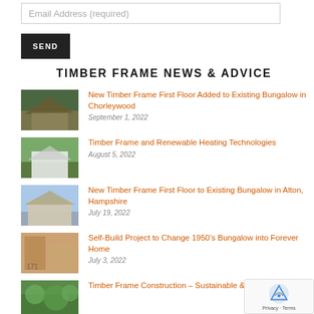Email Address (required)
SEND
TIMBER FRAME NEWS & ADVICE
[Figure (photo): Construction photo of timber frame roof being built on a bungalow with trees in background]
New Timber Frame First Floor Added to Existing Bungalow in Chorleywood
September 1, 2022
[Figure (photo): Photo of a completed white house with green surroundings]
Timber Frame and Renewable Heating Technologies
August 5, 2022
[Figure (photo): Photo of a timber frame house exterior with road]
New Timber Frame First Floor to Existing Bungalow in Alton, Hampshire
July 19, 2022
[Figure (photo): Photo of timber frame construction interior showing structural panels]
Self-Build Project to Change 1950’s Bungalow into Forever Home
July 3, 2022
[Figure (photo): Photo of green trees - partial thumbnail at bottom]
Timber Frame Construction – Sustainable &